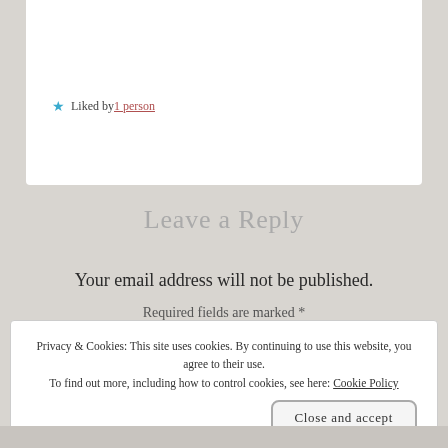Liked by 1 person
Leave a Reply
Your email address will not be published.
Required fields are marked *
Privacy & Cookies: This site uses cookies. By continuing to use this website, you agree to their use.
To find out more, including how to control cookies, see here: Cookie Policy
Close and accept